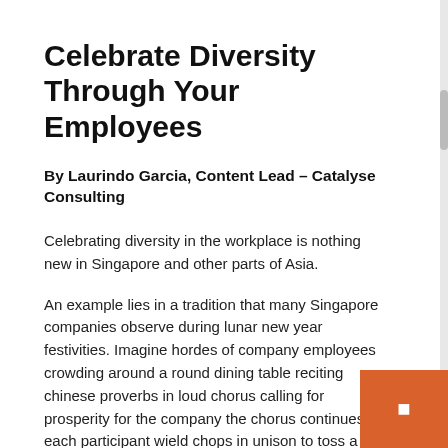Celebrate Diversity Through Your Employees
By Laurindo Garcia, Content Lead – Catalyse Consulting
Celebrating diversity in the workplace is nothing new in Singapore and other parts of Asia.
An example lies in a tradition that many Singapore companies observe during lunar new year festivities. Imagine hordes of company employees crowding around a round dining table reciting chinese proverbs in loud chorus calling for prosperity for the company the chorus continues each participant wield chops in unison to toss a delicious salad of shredded fish and